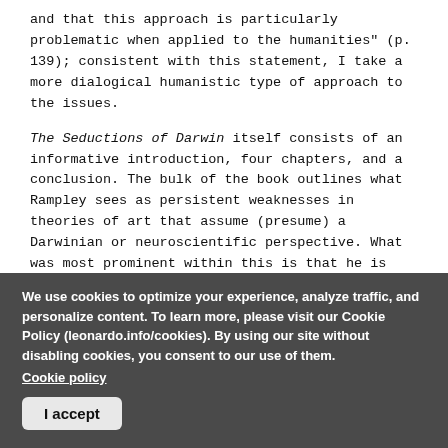and that this approach is particularly problematic when applied to the humanities" (p. 139); consistent with this statement, I take a more dialogical humanistic type of approach to the issues.
The Seductions of Darwin itself consists of an informative introduction, four chapters, and a conclusion. The bulk of the book outlines what Rampley sees as persistent weaknesses in theories of art that assume (presume) a Darwinian or neuroscientific perspective. What was most prominent within this is that he is looking for a unifying explanatory methodology (despite his claim that efforts to construct “unity of knowledge” theories are flawed). This paradoxical strategy lands him in a space that largely mirrors the theoretical problems inherent in the
We use cookies to optimize your experience, analyze traffic, and personalize content. To learn more, please visit our Cookie Policy (leonardo.info/cookies). By using our site without disabling cookies, you consent to our use of them.
Cookie policy
I accept